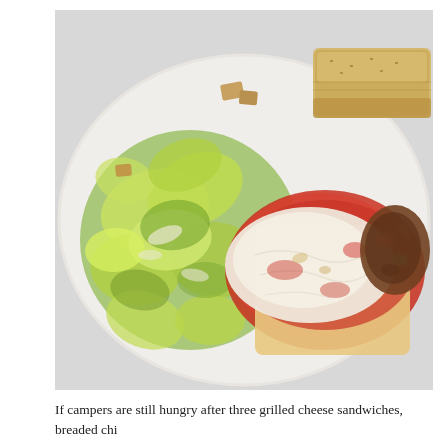[Figure (photo): A white plate with a Caesar salad made of chopped romaine lettuce with dressing and croutons on the left side, and on the right side a piece of lasagna or baked pasta with tomato sauce and melted mozzarella cheese on top, with a piece of bread/focaccia in the background.]
If campers are still hungry after three grilled cheese sandwiches, breaded chi